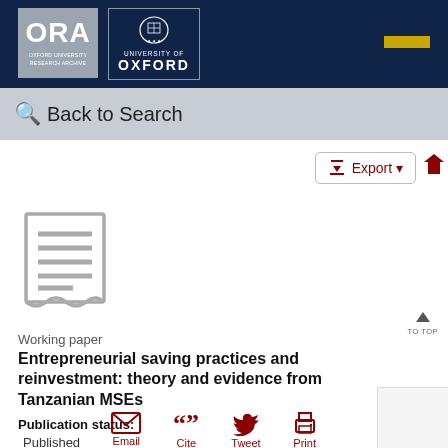[Figure (logo): Oxford University Research Archive (ORA) logo and University of Oxford crest logo on dark navy header bar]
Back to Search
[Figure (illustration): Document/paper icon (grey, lines representing text)]
Working paper
Entrepreneurial saving practices and reinvestment: theory and evidence from Tanzanian MSEs
Publication status:
Published
Actions
[Figure (infographic): Action icons: Email, Cite, Tweet, Print in dark red]